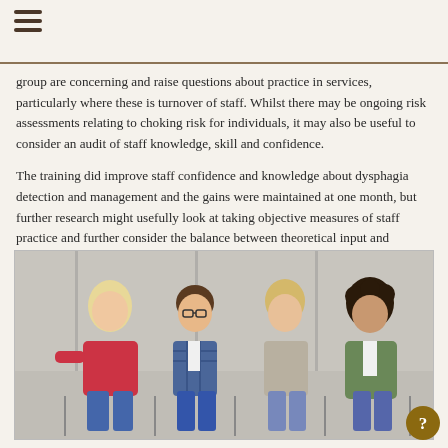group are concerning and raise questions about practice in services, particularly where these is turnover of staff. Whilst there may be ongoing risk assessments relating to choking risk for individuals, it may also be useful to consider an audit of staff knowledge, skill and confidence.
The training did improve staff confidence and knowledge about dysphagia detection and management and the gains were maintained at one month, but further research might usefully look at taking objective measures of staff practice and further consider the balance between theoretical input and practical sessions on these outcomes.
[Figure (photo): Four people (three women and one man) seated in chairs in a group discussion or training session setting. They appear to be in a modern, bright room. The man wears glasses and a blue plaid shirt. The women wear casual clothing.]